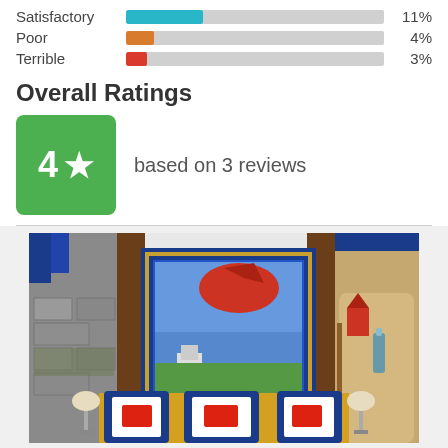Satisfactory  11%
Poor  4%
Terrible  3%
Overall Ratings
4 ★  based on 3 reviews
[Figure (photo): Interior of a LEGO-themed hotel room with castle decor, colorful LEGO artwork on walls, blue curtains, yellow and blue pillows on the bed, and shelves with LEGO figures.]